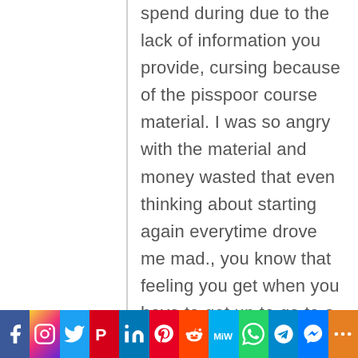spend during due to the lack of information you provide, cursing because of the pisspoor course material. I was so angry with the material and money wasted that even thinking about starting again everytime drove me mad., you know that feeling you get when you have to get up to go to a job you really hate?
[Figure (infographic): Social media sharing bar with icons for Facebook, Instagram, Twitter, Parler, LinkedIn, Pinterest, Reddit, MeWe, WhatsApp, Telegram, Messenger, and More]